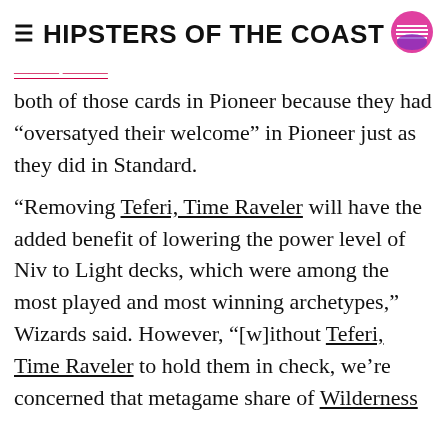HIPSTERS OF THE COAST
both of those cards in Pioneer because they had “oversatyed their welcome” in Pioneer just as they did in Standard.
“Removing Teferi, Time Raveler will have the added benefit of lowering the power level of Niv to Light decks, which were among the most played and most winning archetypes,” Wizards said. However, “[w]ithout Teferi, Time Raveler to hold them in check, we’re concerned that metagame share of Wilderness